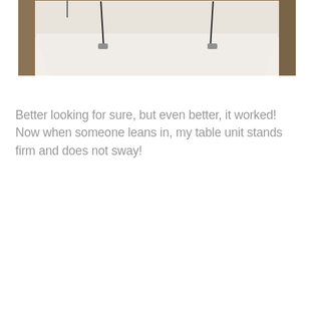[Figure (photo): A photo of a murphy bed or wall-mounted bed unit, showing a white mattress with cable/wire suspension supports attached to a wooden frame, viewed from above at an angle. The bed appears to be in a folded-down position inside a wooden cabinet.]
Better looking for sure, but even better, it worked! Now when someone leans in, my table unit stands firm and does not sway!